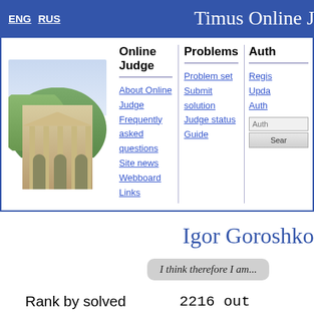ENG  RUS   Timus Online Judge
[Figure (screenshot): Navigation panel with building image and menu columns: Online Judge, Problems, Auth]
Igor Goroshko
I think therefore I am...
|  |  |
| --- | --- |
| Rank by solved | 2216 out |
| Problems solved | 153 ou |
| Rank by rating | 2758 out |